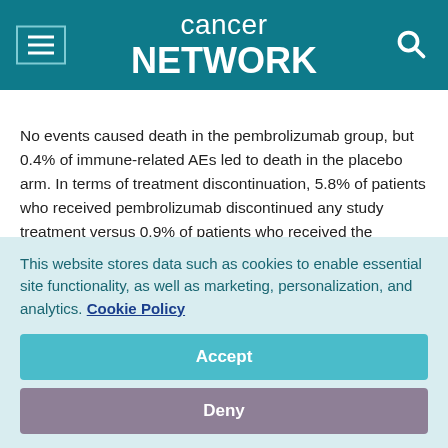cancer network
No events caused death in the pembrolizumab group, but 0.4% of immune-related AEs led to death in the placebo arm. In terms of treatment discontinuation, 5.8% of patients who received pembrolizumab discontinued any study treatment versus 0.9% of patients who received the placebo combination. Discontinuation of all treatment in the study occurred in 0.9% of patients in the pembrolizumab arm and no patients in the placebo arm.
Of the immune-related AEs, the most common were
This website stores data such as cookies to enable essential site functionality, as well as marketing, personalization, and analytics. Cookie Policy
Accept
Deny